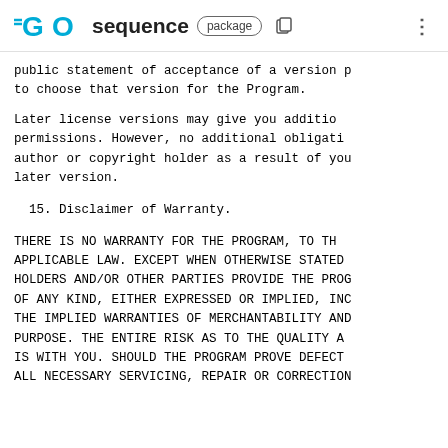GO sequence package
public statement of acceptance of a version p
to choose that version for the Program.
Later license versions may give you additio
permissions.  However, no additional obligati
author or copyright holder as a result of you
later version.
15. Disclaimer of Warranty.
THERE IS NO WARRANTY FOR THE PROGRAM, TO TH
APPLICABLE LAW.  EXCEPT WHEN OTHERWISE STATED
HOLDERS AND/OR OTHER PARTIES PROVIDE THE PROG
OF ANY KIND, EITHER EXPRESSED OR IMPLIED, INC
THE IMPLIED WARRANTIES OF MERCHANTABILITY AND
PURPOSE.  THE ENTIRE RISK AS TO THE QUALITY A
IS WITH YOU.  SHOULD THE PROGRAM PROVE DEFECT
ALL NECESSARY SERVICING, REPAIR OR CORRECTION